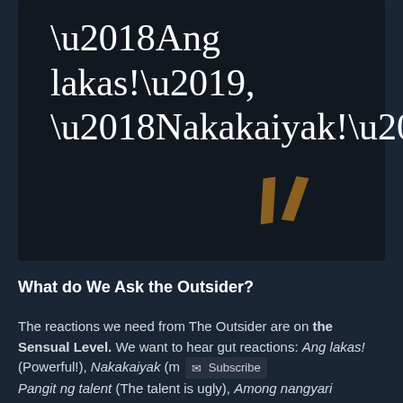[Figure (illustration): Dark background panel with white serif text reading '‘Ang lakas!’, ‘Nakakaiyak!’' and two brown quotation mark shapes in the lower right corner.]
What do We Ask the Outsider?
The reactions we need from The Outsider are on the Sensual Level. We want to hear gut reactions: Ang lakas! (Powerful!), Nakakaiyak (m [Subscribe] Pangit ng talent (The talent is ugly), Among nangyari sa huli?(What happened in the end?)